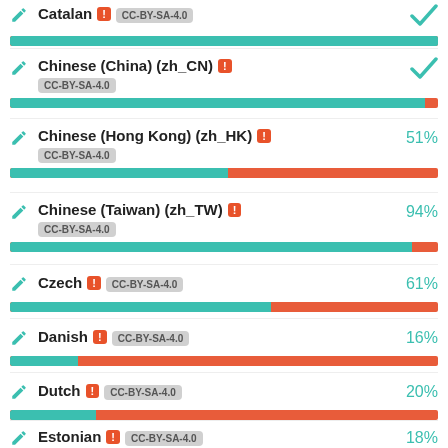Catalan CC-BY-SA-4.0 100%
Chinese (China) (zh_CN) ! CC-BY-SA-4.0 ~100%
Chinese (Hong Kong) (zh_HK) ! CC-BY-SA-4.0 51%
Chinese (Taiwan) (zh_TW) ! CC-BY-SA-4.0 94%
Czech ! CC-BY-SA-4.0 61%
Danish ! CC-BY-SA-4.0 16%
Dutch ! CC-BY-SA-4.0 20%
Estonian ! CC-BY-SA-4.0 18%